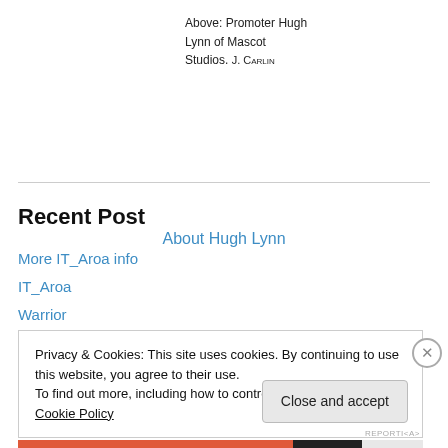Above: Promoter Hugh Lynn of Mascot Studios. J. CARLIN
About Hugh Lynn
Recent Post
More IT_Aroa info
IT_Aroa
Warrior
Privacy & Cookies: This site uses cookies. By continuing to use this website, you agree to their use. To find out more, including how to control cookies, see here: Cookie Policy
Close and accept